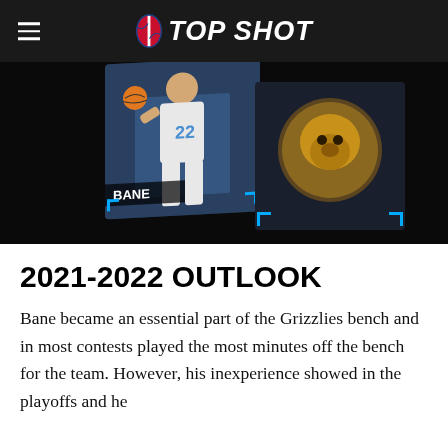NBA TOP SHOT
[Figure (photo): NBA Top Shot digital collectible card of player Bane wearing jersey #22 for the Memphis Grizzlies, shown in a 3D card display with the Grizzlies bear logo on a dark background with blue corner accents.]
2021-2022 OUTLOOK
Bane became an essential part of the Grizzlies bench and in most contests played the most minutes off the bench for the team. However, his inexperience showed in the playoffs and he